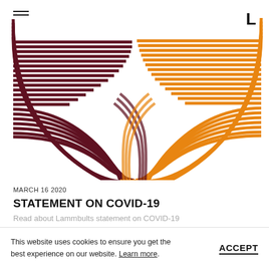[Figure (photo): Abstract woven chair sculpture with dark burgundy/maroon and orange curved parallel rods interlaced together, photographed on white background. Logo 'L' in top right corner and hamburger menu icon in top left.]
MARCH 16 2020
STATEMENT ON COVID-19
Read about Lammbults statement on COVID-19
This website uses cookies to ensure you get the best experience on our website. Learn more.
ACCEPT